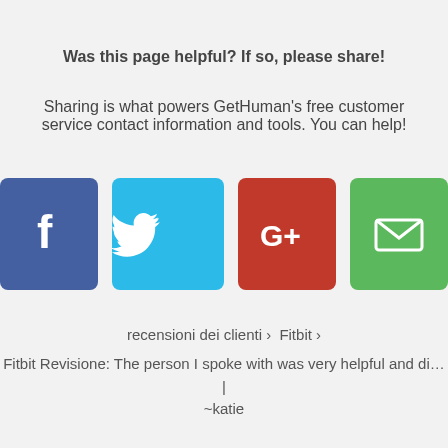Was this page helpful? If so, please share!
Sharing is what powers GetHuman's free customer service contact information and tools. You can help!
[Figure (infographic): Four social share buttons: Facebook (blue), Twitter (cyan), Google+ (red), Email (green)]
recensioni dei clienti › Fitbit ›
Fitbit Revisione: The person I spoke with was very helpful and di… | ~katie